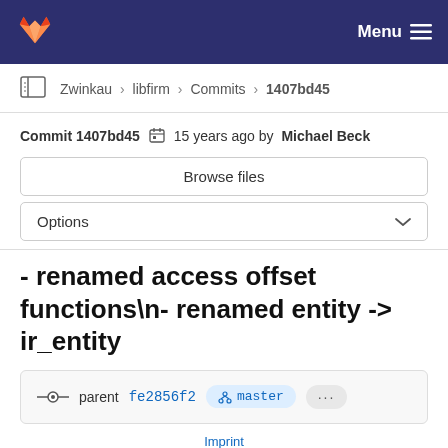Menu
Zwinkau > libfirm > Commits > 1407bd45
Commit 1407bd45  15 years ago by Michael Beck
Browse files
Options
- renamed access offset functions\n- renamed entity -> ir_entity
parent fe2856f2  master  ...
Imprint